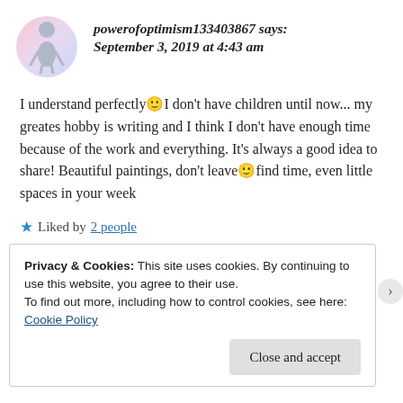powerofoptimism133403867 says: September 3, 2019 at 4:43 am
I understand perfectly 🙂 I don't have children until now... my greates hobby is writing and I think I don't have enough time because of the work and everything. It's always a good idea to share! Beautiful paintings, don't leave 🙂 find time, even little spaces in your week
★ Liked by 2 people
Privacy & Cookies: This site uses cookies. By continuing to use this website, you agree to their use. To find out more, including how to control cookies, see here: Cookie Policy
Close and accept